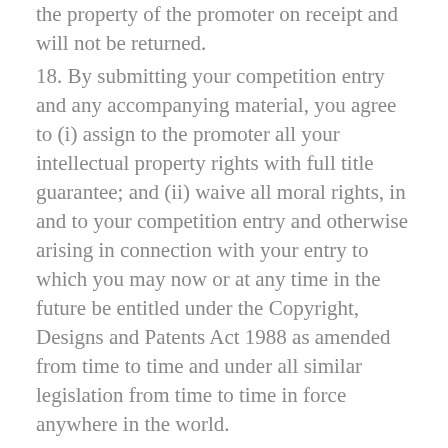the property of the promoter on receipt and will not be returned.
18. By submitting your competition entry and any accompanying material, you agree to (i) assign to the promoter all your intellectual property rights with full title guarantee; and (ii) waive all moral rights, in and to your competition entry and otherwise arising in connection with your entry to which you may now or at any time in the future be entitled under the Copyright, Designs and Patents Act 1988 as amended from time to time and under all similar legislation from time to time in force anywhere in the world.
19. You agree that the promoter may, but is not required to, make your entry available on its website www.avactaanimalhealth.com and any other media, whether now known or invented in the future, and in connection with any publicity of the competition. You agree to grant the promoter a non-exclusive, worldwide, irrevocable